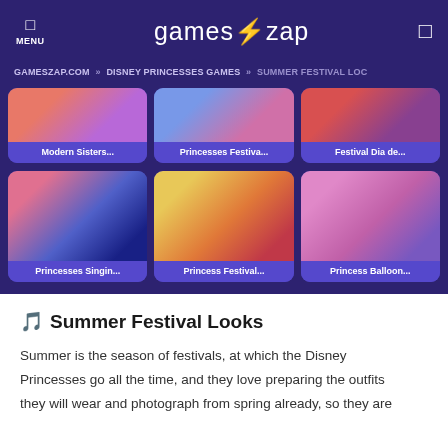MENU | games⚡zap | [search]
GAMESZAP.COM » DISNEY PRINCESSES GAMES » SUMMER FESTIVAL LOC
[Figure (screenshot): Game thumbnail row 1: Modern Sisters..., Princesses Festiva..., Festival Dia de...]
[Figure (screenshot): Game thumbnail row 2: Princesses Singin..., Princess Festival..., Princess Balloon...]
🎵 Summer Festival Looks
Summer is the season of festivals, at which the Disney Princesses go all the time, and they love preparing the outfits they will wear and photograph from spring already, so they are